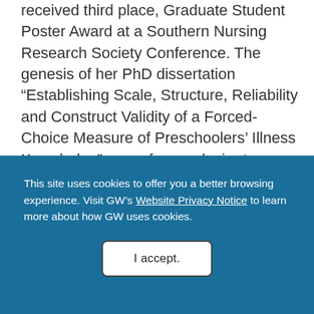received third place, Graduate Student Poster Award at a Southern Nursing Research Society Conference. The genesis of her PhD dissertation “Establishing Scale, Structure, Reliability and Construct Validity of a Forced-Choice Measure of Preschoolers’ Illness Knowledge” came from a desire to provide developmentally appropriate health-promoting education to children and recognizing that a measure of
This site uses cookies to offer you a better browsing experience. Visit GW’s Website Privacy Notice to learn more about how GW uses cookies.
I accept.